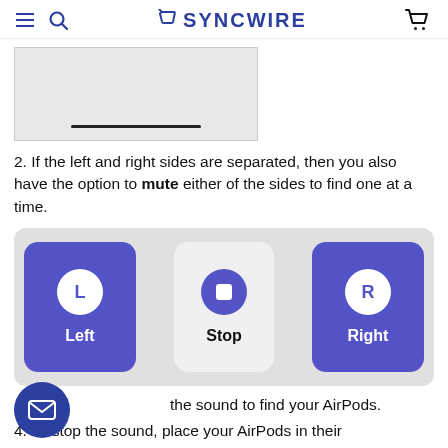SYNCWIRE
[Figure (screenshot): Partial screenshot showing a white/light gray box with a horizontal black bar/line near the bottom center]
2. If the left and right sides are separated, then you also have the option to mute either of the sides to find one at a time.
[Figure (screenshot): UI screenshot showing three buttons: Left (purple, L icon), Stop (light gray, stop square icon), Right (purple, R icon)]
the sound to find your AirPods.
4. To stop the sound, place your AirPods in their